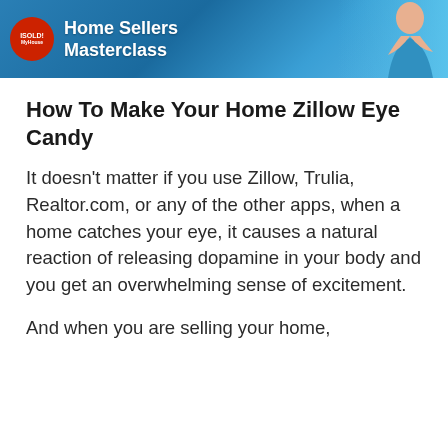[Figure (photo): Advertisement banner for 'Home Sellers Masterclass' with ISoldMyHouse.com logo on left, bold white text in center, and a woman on the right side against a blue background.]
How To Make Your Home Zillow Eye Candy
It doesn’t matter if you use Zillow, Trulia, Realtor.com, or any of the other apps, when a home catches your eye, it causes a natural reaction of releasing dopamine in your body and you get an overwhelming sense of excitement.
And when you are selling your home,